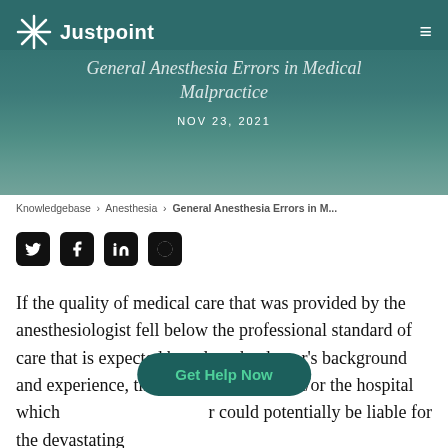Justpoint
General Anesthesia Errors in Medical Malpractice
NOV 23, 2021
Knowledgebase › Anesthesia › General Anesthesia Errors in M...
[Figure (infographic): Social media share icons: Twitter, Facebook, LinkedIn, Reddit]
If the quality of medical care that was provided by the anesthesiologist fell below the professional standard of care that is expected based on the doctor's background and experience, the anesthesiologist and/or the hospital which employed her could potentially be liable for the devastating